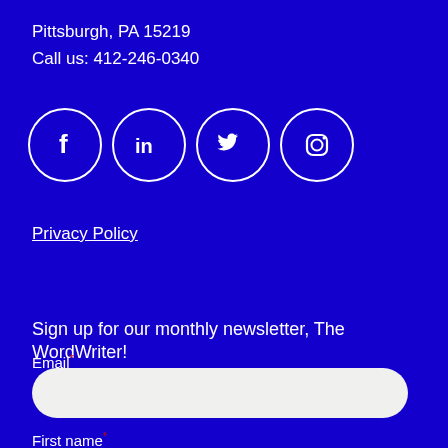Pittsburgh, PA 15219
Call us: 412-246-0340
[Figure (illustration): Four social media icons in white circle outlines on blue background: Facebook (f), LinkedIn (in), Twitter (bird), Instagram (camera)]
Privacy Policy
Sign up for our monthly newsletter, The WordWriter!
Email *
First name *